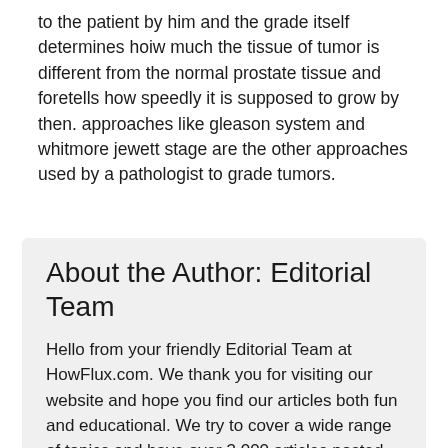to the patient by him and the grade itself determines hoiw much the tissue of tumor is different from the normal prostate tissue and foretells how speedly it is supposed to grow by then. approaches like gleason system and whitmore jewett stage are the other approaches used by a pathologist to grade tumors.
About the Author: Editorial Team
Hello from your friendly Editorial Team at HowFlux.com. We thank you for visiting our website and hope you find our articles both fun and educational. We try to cover a wide range of topics and have over 3,000 articles posted for you to enjoy. Thank you again for being a loyal reader!